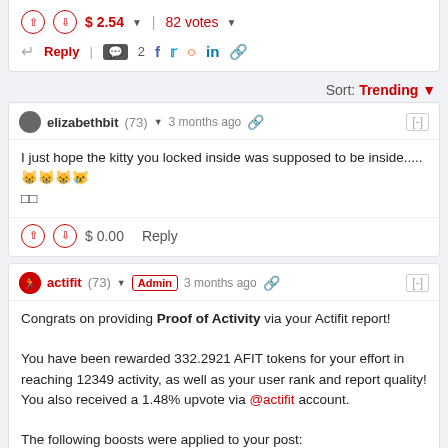$ 2.54  82 votes
Reply  2 [social icons]
Sort: Trending
elizabethbit (73)  3 months ago  [-]
I just hope the kitty you locked inside was supposed to be inside..... 🐱🐱🐱😿 □□
$ 0.00  Reply
actifit (73)  Admin  3 months ago  [-]
Congrats on providing Proof of Activity via your Actifit report!

You have been rewarded 332.2921 AFIT tokens for your effort in reaching 12349 activity, as well as your user rank and report quality!
You also received a 1.48% upvote via @actifit account.

The following boosts were applied to your post:
[Figure (illustration): Partial view of Actifit rocket/logo illustration at the bottom]